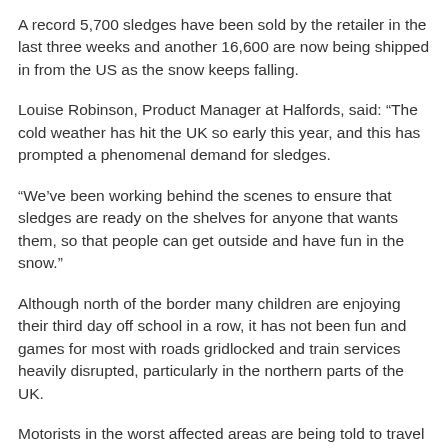A record 5,700 sledges have been sold by the retailer in the last three weeks and another 16,600 are now being shipped in from the US as the snow keeps falling.
Louise Robinson, Product Manager at Halfords, said: “The cold weather has hit the UK so early this year, and this has prompted a phenomenal demand for sledges.
“We’ve been working behind the scenes to ensure that sledges are ready on the shelves for anyone that wants them, so that people can get outside and have fun in the snow.”
Although north of the border many children are enjoying their third day off school in a row, it has not been fun and games for most with roads gridlocked and train services heavily disrupted, particularly in the northern parts of the UK.
Motorists in the worst affected areas are being told to travel only for necessity but for those venturing out on the roads buying salt may prove popular.
Mark Dolphin, Halfords Winter Motoring Expert, commented: